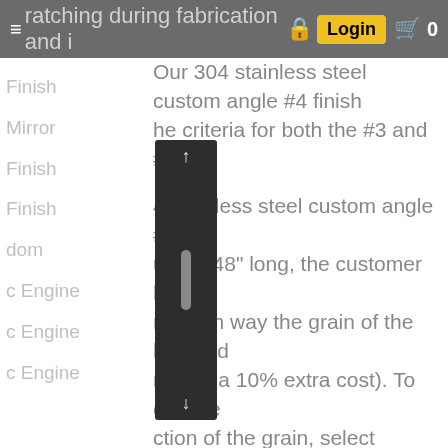ratching during fabrication and installation. Login 0
Our 304 stainless steel custom angle #4 finish he criteria for both the #3 and #4
4 stainless steel custom angle #4 under 48" long, the customer has a n which way the grain of the brushed ns (for a 10% extra cost). To choose ction of the grain, select "Custom in Step 3 and select any length up to can then select "Yes" on the Grain ...ction Preference box.
Finish
Mirror
Finish
Finish
dom
c Engine
c Engine
c Engine